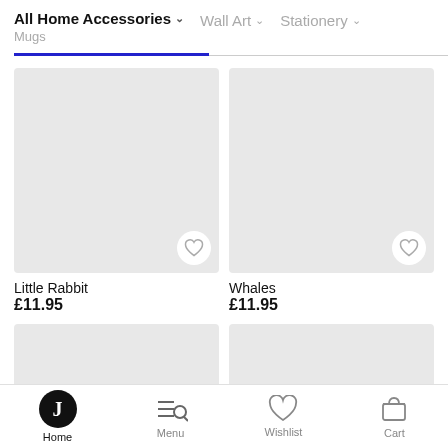All Home Accessories / Mugs | Wall Art | Stationery
[Figure (screenshot): Product image placeholder for Little Rabbit mug (gray rectangle)]
Little Rabbit
£11.95
[Figure (screenshot): Product image placeholder for Whales mug (gray rectangle)]
Whales
£11.95
[Figure (screenshot): Product image placeholder (partially visible, gray rectangle, bottom left)]
[Figure (screenshot): Product image placeholder (partially visible, gray rectangle, bottom right)]
Home | Menu | Wishlist | Cart